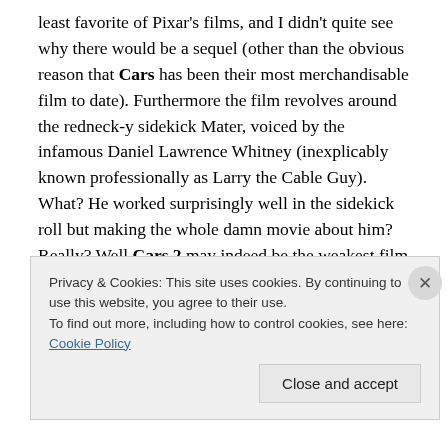least favorite of Pixar's films, and I didn't quite see why there would be a sequel (other than the obvious reason that Cars has been their most merchandisable film to date). Furthermore the film revolves around the redneck-y sidekick Mater, voiced by the infamous Daniel Lawrence Whitney (inexplicably known professionally as Larry the Cable Guy). What? He worked surprisingly well in the sidekick roll but making the whole damn movie about him? Really? Well Cars 2 may indeed be the weakest film Pixar's made yet… but when you look at their track record that's not really necessarily an insult. Cars 2 never
Privacy & Cookies: This site uses cookies. By continuing to use this website, you agree to their use.
To find out more, including how to control cookies, see here: Cookie Policy